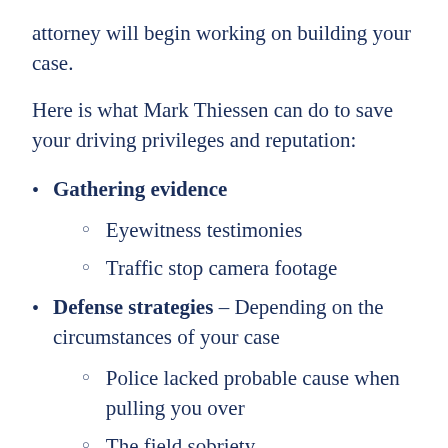attorney will begin working on building your case.
Here is what Mark Thiessen can do to save your driving privileges and reputation:
Gathering evidence
Eyewitness testimonies
Traffic stop camera footage
Defense strategies – Depending on the circumstances of your case
Police lacked probable cause when pulling you over
The field sobriety...